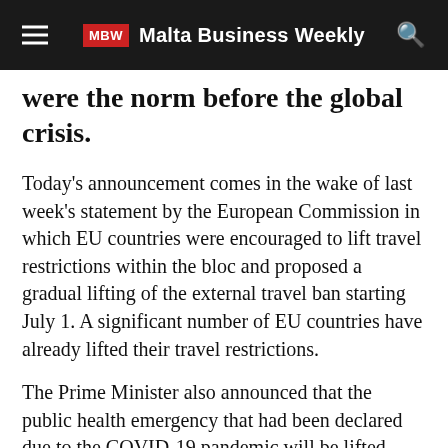Malta Business Weekly
were the norm before the global crisis.
Today's announcement comes in the wake of last week's statement by the European Commission in which EU countries were encouraged to lift travel restrictions within the bloc and proposed a gradual lifting of the external travel ban starting July 1. A significant number of EU countries have already lifted their travel restrictions.
The Prime Minister also announced that the public health emergency that had been declared due to the COVID-19 pandemic will be lifted. This means that all remaining legal notices related to COVID-19 restrictions will be revoked, including the ban